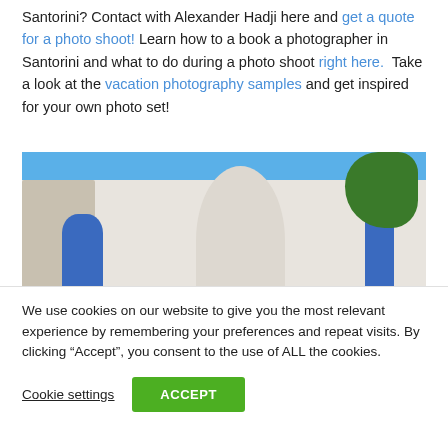Santorini? Contact with Alexander Hadji here and get a quote for a photo shoot! Learn how to a book a photographer in Santorini and what to do during a photo shoot right here.  Take a look at the vacation photography samples and get inspired for your own photo set!
[Figure (photo): Photograph of Santorini architecture showing white-washed walls, a blue door, an archway, blue sky, and green tree foliage on the right]
We use cookies on our website to give you the most relevant experience by remembering your preferences and repeat visits. By clicking “Accept”, you consent to the use of ALL the cookies.
Cookie settings   ACCEPT